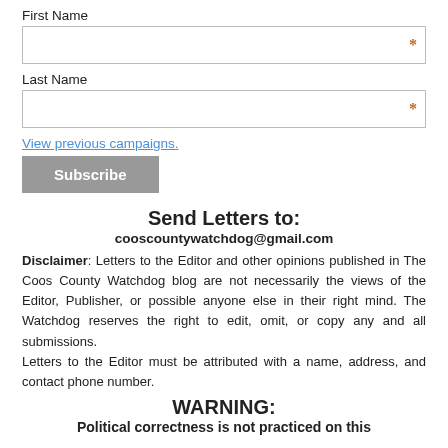First Name
Last Name
View previous campaigns.
Subscribe
Send Letters to:
cooscountywatchdog@gmail.com
Disclaimer: Letters to the Editor and other opinions published in The Coos County Watchdog blog are not necessarily the views of the Editor, Publisher, or possible anyone else in their right mind. The Watchdog reserves the right to edit, omit, or copy any and all submissions. Letters to the Editor must be attributed with a name, address, and contact phone number.
WARNING:
Political correctness is not practiced on this